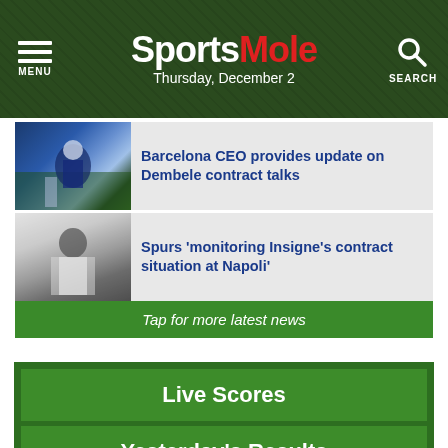SportsMole — Thursday, December 2
Barcelona CEO provides update on Dembele contract talks
Spurs 'monitoring Insigne's contract situation at Napoli'
Tap for more latest news
Live Scores
Yesterday's Results
Premier League Stats
Football
F1
Search